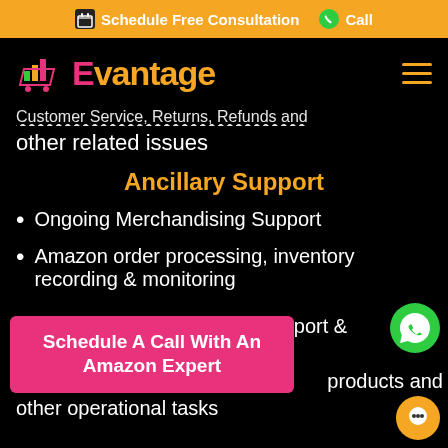📅 Schedule Free Consultation   📞 Call
[Figure (logo): Evantage logo with shopping cart icon and bar chart, text in pink and orange]
Customer Service, Returns, Refunds and other related issues
Ancillary Support
Ongoing Merchandising Support
Amazon order processing, inventory recording & monitoring
Transaction logs, sales tax report & support on all products
products and other operational tasks
Schedule A Call With An Amazon Expert